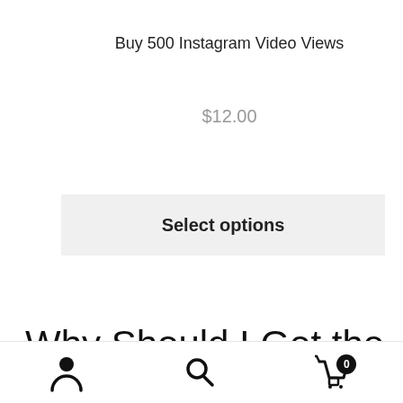Buy 500 Instagram Video Views
$12.00
Select options
Why Should I Get the Updated Instagram from igHope?
ou know why should you choose igHope? You definitely to promote your bu suggest you choose igHope and use its services. Here are
[Figure (screenshot): WhatsApp chat widget button: teal bar with WhatsApp icon and text 'How can I help you?']
[Figure (screenshot): Mobile bottom navigation bar with user/account icon, search icon, and cart icon with badge showing 0. Also cart floating button with count 0.]